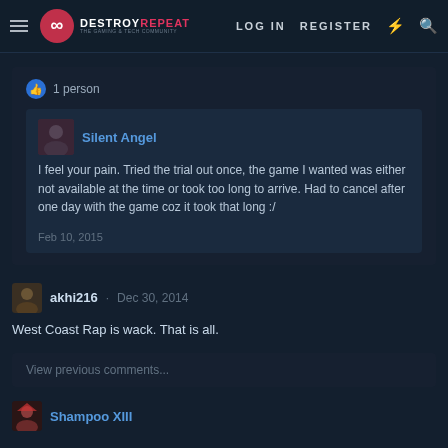DestroyRepeat — THE GAMING & TECH COMMUNITY | LOG IN | REGISTER
👍 1 person
Silent Angel
I feel your pain. Tried the trial out once, the game I wanted was either not available at the time or took too long to arrive. Had to cancel after one day with the game coz it took that long :/

Feb 10, 2015
akhi216 · Dec 30, 2014
West Coast Rap is wack. That is all.
View previous comments...
Shampoo XIII